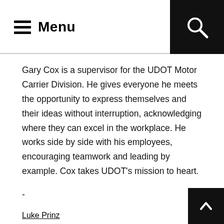Menu
Gary Cox is a supervisor for the UDOT Motor Carrier Division. He gives everyone he meets the opportunity to express themselves and their ideas without interruption, acknowledging where they can excel in the workplace. He works side by side with his employees, encouraging teamwork and leading by example. Cox takes UDOT’s mission to heart.
-
Luke Prinz
Luke Prinz is a very dedicated employee of the Salt Lake County Health Department. As an environmental health scientist, Prinz works hard to protect public health and is the mobile unit coordinator. He is always willing to help his